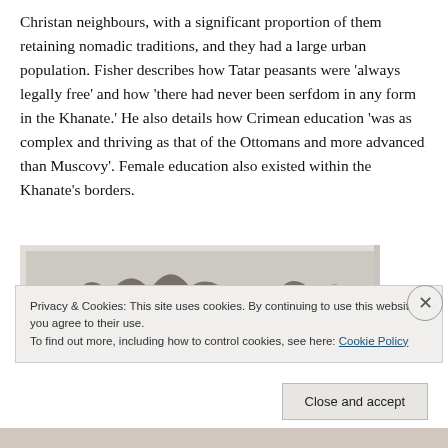Christan neighbours, with a significant proportion of them retaining nomadic traditions, and they had a large urban population. Fisher describes how Tatar peasants were 'always legally free' and how 'there had never been serfdom in any form in the Khanate.' He also details how Crimean education 'was as complex and thriving as that of the Ottomans and more advanced than Muscovy'. Female education also existed within the Khanate's borders.
[Figure (photo): A black and white or sepia-toned historical photograph or illustration showing a landscape with trees.]
Privacy & Cookies: This site uses cookies. By continuing to use this website, you agree to their use.
To find out more, including how to control cookies, see here: Cookie Policy
Close and accept